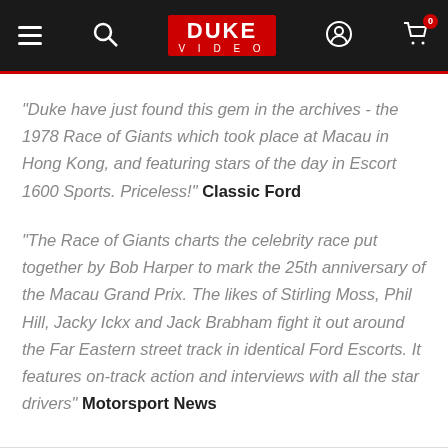Duke Video navigation bar
"Duke have just found this gem in the archives - the 1978 Race of Giants which took place at Macau in Hong Kong, and featuring stars of the day in Escort 1600 Sports. Priceless!" Classic Ford
"The Race of Giants charts the celebrity race put together by Bob Harper to mark the 25th anniversary of the Macau Grand Prix. The likes of Stirling Moss, Phil Hill, Jacky Ickx and Jack Brabham fight it out around the Far Eastern street track in identical Ford Escorts. It features on-track action and interviews with all the star drivers" Motorsport News